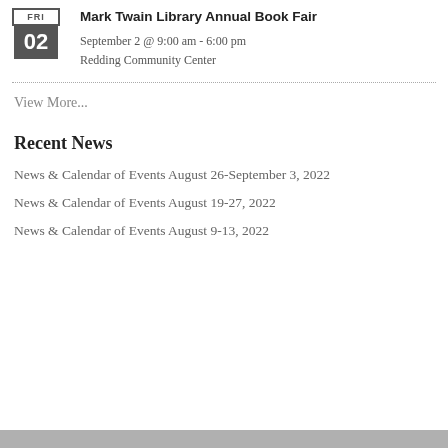Mark Twain Library Annual Book Fair
September 2 @ 9:00 am - 6:00 pm
Redding Community Center
View More...
Recent News
News & Calendar of Events August 26-September 3, 2022
News & Calendar of Events August 19-27, 2022
News & Calendar of Events August 9-13, 2022